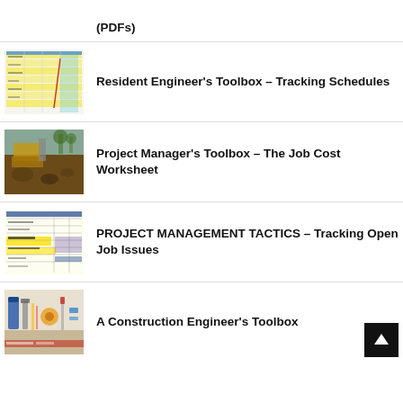(PDFs)
Resident Engineer's Toolbox – Tracking Schedules
Project Manager's Toolbox – The Job Cost Worksheet
PROJECT MANAGEMENT TACTICS – Tracking Open Job Issues
A Construction Engineer's Toolbox